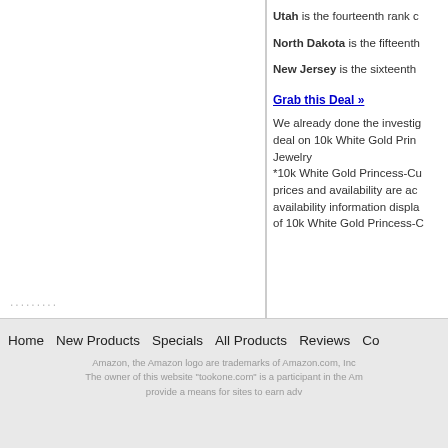Utah is the fourteenth rank c...
North Dakota is the fifteenth...
New Jersey is the sixteenth...
Grab this Deal »
We already done the investig... deal on 10k White Gold Prin... Jewelry
*10k White Gold Princess-C... prices and availability are ac... availability information displa... of 10k White Gold Princess-C...
.........
Home   New Products   Specials   All Products   Reviews   Co...
Amazon, the Amazon logo are trademarks of Amazon.com, Inc...
The owner of this website "tookone.com" is a participant in the Am... provide a means for sites to earn adv...